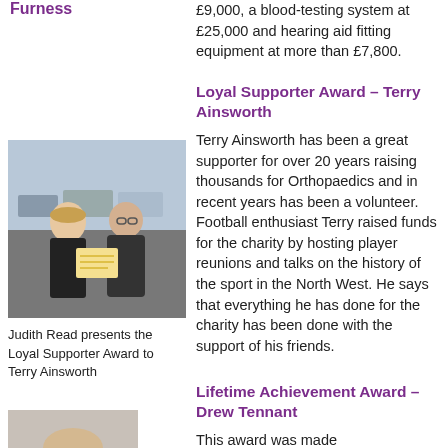Furness
£9,000, a blood-testing system at £25,000 and hearing aid fitting equipment at more than £7,800.
Loyal Supporter Award – Terry Ainsworth
Terry Ainsworth has been a great supporter for over 20 years raising thousands for Orthopaedics and in recent years has been a volunteer. Football enthusiast Terry raised funds for the charity by hosting player reunions and talks on the history of the sport in the North West. He says that everything he has done for the charity has been done with the support of his friends.
[Figure (photo): Judith Read presents the Loyal Supporter Award to Terry Ainsworth - two people standing outdoors, one holding a certificate]
Judith Read presents the Loyal Supporter Award to Terry Ainsworth
Lifetime Achievement Award – Drew Tennant
This award was made
[Figure (photo): Partial photo of a person visible at bottom left of page]